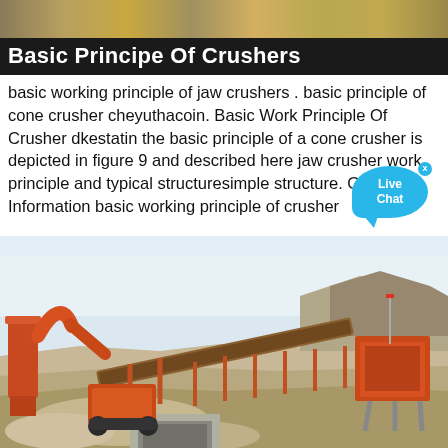[Figure (photo): Top strip photo showing industrial/mining equipment parts close-up]
Basic Principe Of Crushers
basic working principle of jaw crushers . basic principle of cone crusher cheyuthacoin. Basic Work Principle Of Crusher dkestatin the basic principle of a cone crusher is depicted in figure 9 and described here jaw crusher work principle and typical structuresimple structure. Get Information basic working principle of crusher
[Figure (photo): Outdoor industrial crushing plant with orange conveyor belt system, machinery, rocky terrain and hillside in background]